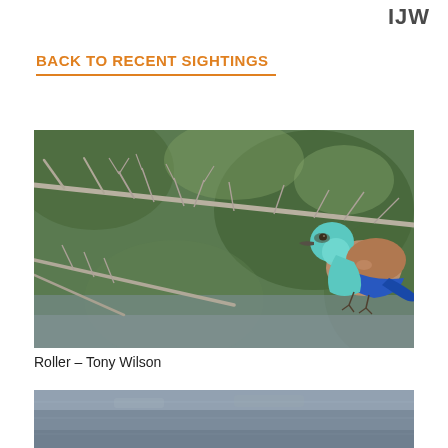IJW
BACK TO RECENT SIGHTINGS
[Figure (photo): A Roller bird with turquoise head, brown body, and blue wing feathers perched on a bare branch against a blurred green background. Photo by Tony Wilson.]
Roller – Tony Wilson
[Figure (photo): Bottom portion of a second photo, partially visible, showing a grey/blue water or shoreline scene.]